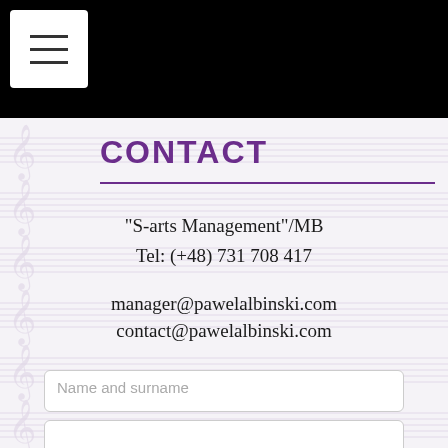Navigation header with hamburger menu icon
CONTACT
"S-arts Management"/MB
Tel: (+48) 731 708 417
manager@pawelalbinski.com
contact@pawelalbinski.com
Name and surname